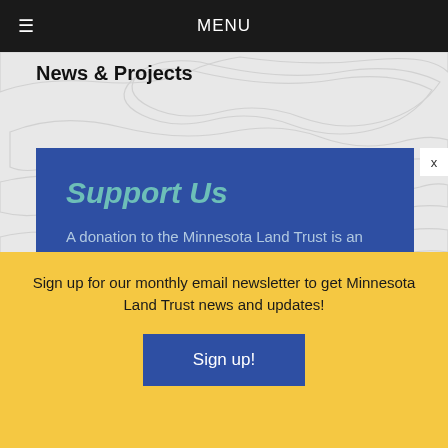≡  MENU
News & Projects
Support Us
A donation to the Minnesota Land Trust is an investment in conservation for Minnesota.
Sign up for our monthly email newsletter to get Minnesota Land Trust news and updates!
Sign up!